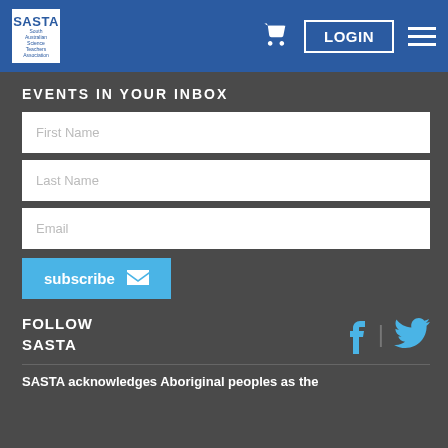[Figure (logo): SASTA logo - white box with blue text on blue header background, with cart icon, LOGIN button, and hamburger menu]
EVENTS IN YOUR INBOX
First Name
Last Name
Email
subscribe
FOLLOW SASTA
SASTA acknowledges Aboriginal peoples as the